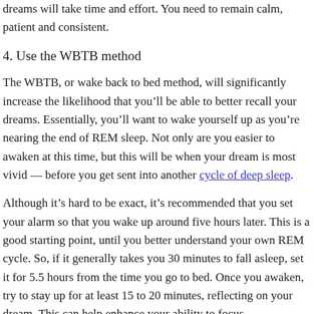dreams will take time and effort. You need to remain calm, patient and consistent.
4. Use the WBTB method
The WBTB, or wake back to bed method, will significantly increase the likelihood that you’ll be able to better recall your dreams. Essentially, you’ll want to wake yourself up as you’re nearing the end of REM sleep. Not only are you easier to awaken at this time, but this will be when your dream is most vivid — before you get sent into another cycle of deep sleep.
Although it’s hard to be exact, it’s recommended that you set your alarm so that you wake up around five hours later. This is a good starting point, until you better understand your own REM cycle. So, if it generally takes you 30 minutes to fall asleep, set it for 5.5 hours from the time you go to bed. Once you awaken, try to stay up for at least 15 to 20 minutes, reflecting on your dream. This can help enhance your ability to focus.
5. Practice reality checks often